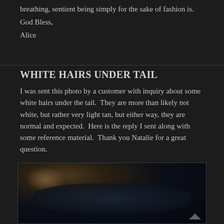breathing, sentient being simply for the sake of fashion is.
God Bless,
Alice
WHITE HAIRS UNDER TAIL
I was sent this photo by a customer with inquiry about some white hairs under the tail.  They are more than likely not white, but rather very light tan, but either way, they are normal and expected.  Here is the reply I sent along with some reference material.  Thank you Natalie for a great question.
[Figure (photo): Dark photo showing close-up of an animal tail area, dark bluish-black tones with a light tan/beige area visible in the upper left portion.]